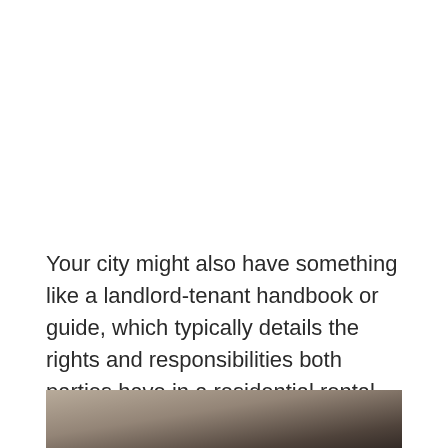Your city might also have something like a landlord-tenant handbook or guide, which typically details the rights and responsibilities both parties have in a residential rental housing agreement. These guides aim to reduce the level of conflict and confusion that may occur in legal disputes between landlords and tenants.
[Figure (photo): Partial photo of a person visible at the bottom of the page, showing dark hair against a light background.]